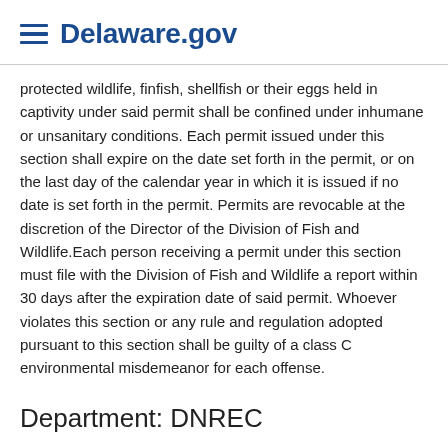Delaware.gov
protected wildlife, finfish, shellfish or their eggs held in captivity under said permit shall be confined under inhumane or unsanitary conditions. Each permit issued under this section shall expire on the date set forth in the permit, or on the last day of the calendar year in which it is issued if no date is set forth in the permit. Permits are revocable at the discretion of the Director of the Division of Fish and Wildlife.Each person receiving a permit under this section must file with the Division of Fish and Wildlife a report within 30 days after the expiration date of said permit. Whoever violates this section or any rule and regulation adopted pursuant to this section shall be guilty of a class C environmental misdemeanor for each offense.
Department: DNREC